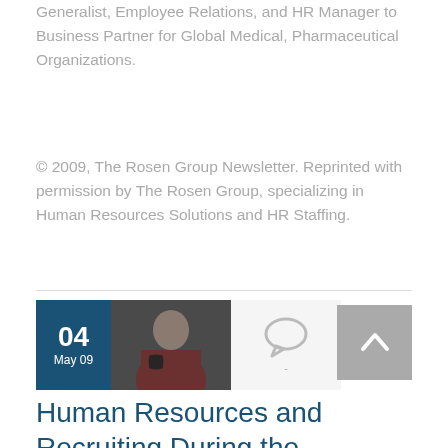Professional, Edarine has held leadership roles from Generalist, Employee Relations, and HR Manager to Business Partner for Global Medical, Pharmaceutical Organizations.
© 2009, The Rosen Group Newsletter. Reprinted with permission by The Rosen Group, specializing in Human Resources Solutions and HR Staffing.
[Figure (photo): Post metadata block: date badge showing '04 May 09' in blue, author photo of man with camera, comment icon, and scroll-to-top button]
Human Resources and Recruiting During the Recession